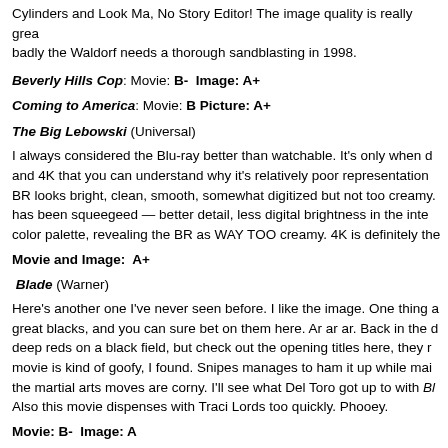Cylinders and Look Ma, No Story Editor! The image quality is really great, badly the Waldorf needs a thorough sandblasting in 1998.
Beverly Hills Cop: Movie: B- Image: A+
Coming to America: Movie: B Picture: A+
The Big Lebowski (Universal)
I always considered the Blu-ray better than watchable. It's only when doing and 4K that you can understand why it's relatively poor representation. BR looks bright, clean, smooth, somewhat digitized but not too creamy. has been squeegeed — better detail, less digital brightness in the inte color palette, revealing the BR as WAY TOO creamy. 4K is definitely the
Movie and Image: A+
Blade (Warner)
Here's another one I've never seen before. I like the image. One thing great blacks, and you can sure bet on them here. Ar ar ar. Back in the d deep reds on a black field, but check out the opening titles here, they r movie is kind of goofy, I found. Snipes manages to ham it up while mai the martial arts moves are corny. I'll see what Del Toro got up to with Bl Also this movie dispenses with Traci Lords too quickly. Phooey.
Movie: B- Image: A